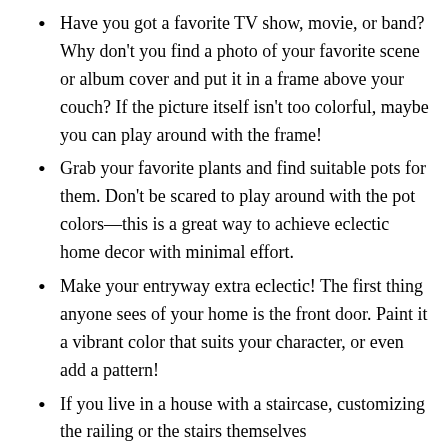Have you got a favorite TV show, movie, or band? Why don't you find a photo of your favorite scene or album cover and put it in a frame above your couch? If the picture itself isn't too colorful, maybe you can play around with the frame!
Grab your favorite plants and find suitable pots for them. Don't be scared to play around with the pot colors—this is a great way to achieve eclectic home decor with minimal effort.
Make your entryway extra eclectic! The first thing anyone sees of your home is the front door. Paint it a vibrant color that suits your character, or even add a pattern!
If you live in a house with a staircase, customizing the railing or the stairs themselves